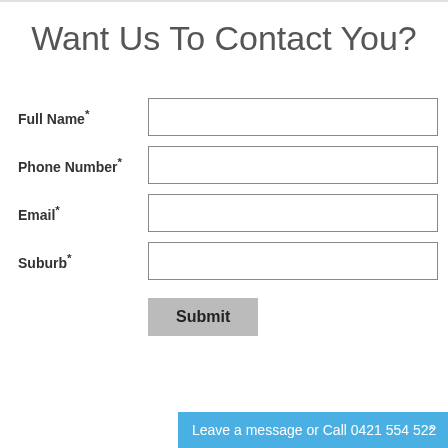Want Us To Contact You?
Full Name*
Phone Number*
Email*
Suburb*
Submit
Leave a message or Call 0421 554 522